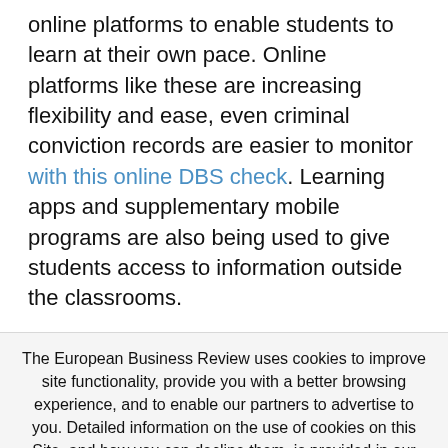online platforms to enable students to learn at their own pace. Online platforms like these are increasing flexibility and ease, even criminal conviction records are easier to monitor with this online DBS check. Learning apps and supplementary mobile programs are also being used to give students access to information outside the classrooms.
The European Business Review uses cookies to improve site functionality, provide you with a better browsing experience, and to enable our partners to advertise to you. Detailed information on the use of cookies on this Site, and how you can decline them, is provided in our Privacy Policy and Terms and Conditions. By clicking on the accept button and using this Site, you consent to our Privacy Policy and Terms and Conditions.